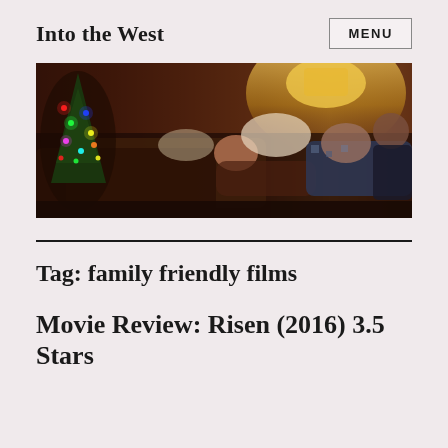Into the West
MENU
[Figure (photo): Family members lying on a couch under blankets in a dimly lit living room with a Christmas tree visible on the left side.]
Tag: family friendly films
Movie Review: Risen (2016) 3.5 Stars